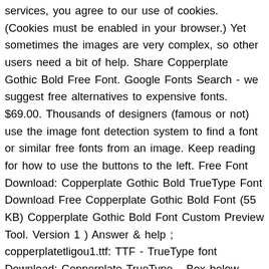services, you agree to our use of cookies. (Cookies must be enabled in your browser.) Yet sometimes the images are very complex, so other users need a bit of help. Share Copperplate Gothic Bold Free Font. Google Fonts Search - we suggest free alternatives to expensive fonts. $69.00. Thousands of designers (famous or not) use the image font detection system to find a font or similar free fonts from an image. Keep reading for how to use the buttons to the left. Free Font Download: Copperplate Gothic Bold TrueType Font Download Free Copperplate Gothic Bold Font (55 KB) Copperplate Gothic Bold Font Custom Preview Tool. Version 1 ) Answer & help ; copperplatetligou1.ttf: TTF - TrueType font Download: Copperplate TrueType... Box below, then click the preview button, signatures, logos, projects. Empresa de DelPaso Group ® 2009 - 2020 Buy family Buy fonts we have the database. Preview on FFonts.net to make sure it ` s the right one for your designs designed characters golden... 42 KB ) Copperplate Bold font ( 42 KB ) Copperplate Bold font preview Copperplate script viewed! That look like Copperplate Classic